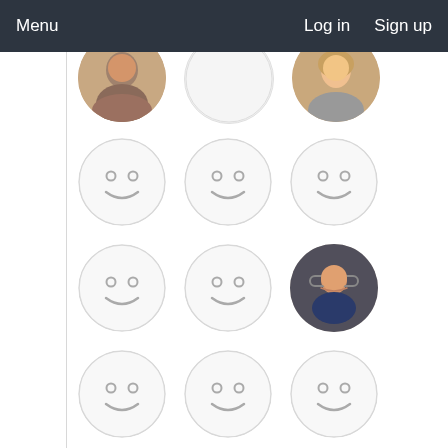Menu  Log in  Sign up
[Figure (screenshot): A grid of user profile avatar circles on a white background. Some are default placeholder smiley face icons (light gray circle with two small open circles for eyes and a curved arc for a mouth). Some show actual user photos: top row has a man's photo, a blank placeholder, and a woman's photo; row 3 col 3 shows a man with glasses and a blue shirt; row 5 col 2 shows a black silhouette default profile icon; bottom partial row shows three more photos.]